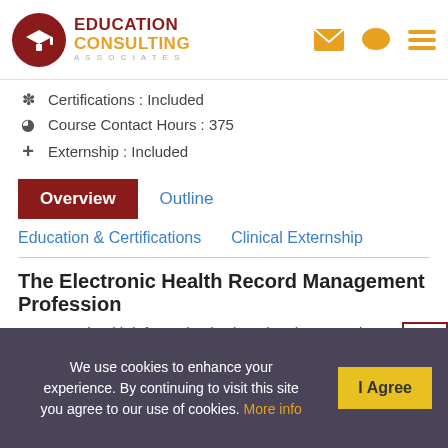Education Consulting Associates
Certifications : Included
Course Contact Hours : 375
Externship : Included
Overview | Outline
Education & Certifications | Clinical Externship
The Electronic Health Record Management Profession
Access to health information is changing the ways doctors care for patients. With the nation's healthcare
We use cookies to enhance your experience. By continuing to visit this site you agree to our use of cookies. More info | I Agree